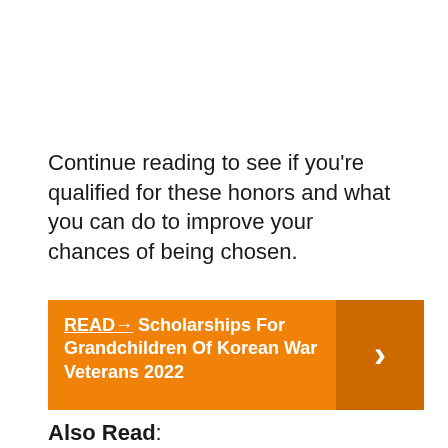Continue reading to see if you're qualified for these honors and what you can do to improve your chances of being chosen.
[Figure (infographic): Orange call-to-action banner reading: READ→ Scholarships For Grandchildren Of Korean War Veterans 2022, with a darker orange arrow box on the right.]
Also Read:
Mike Rowe Scholarship 2022-2023 Application Portal